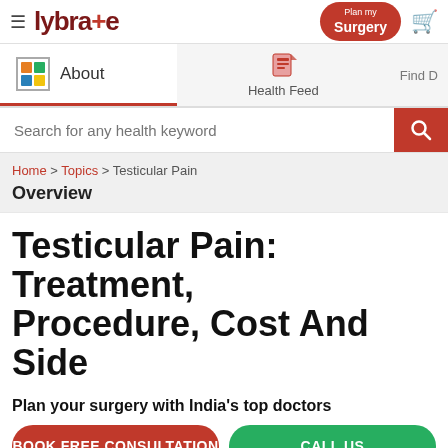lybra+e | Plan my Surgery
About | Health Feed | Find D
Search for any health keyword
Home > Topics > Testicular Pain
Overview
Testicular Pain: Treatment, Procedure, Cost And Side
Plan your surgery with India's top doctors
BOOK FREE CONSULTATION
CALL US